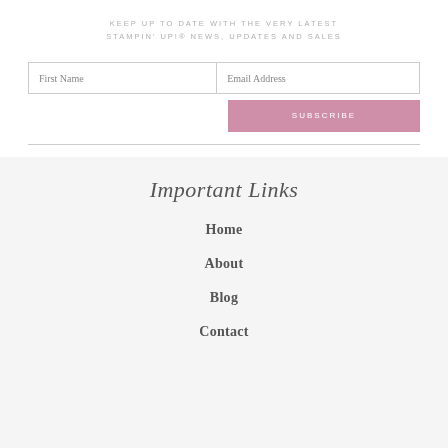KEEP UP TO DATE WITH THE VERY LATEST STAMPIN' UP!® NEWS, UPDATES AND SALES
[Figure (other): Newsletter subscription form with First Name and Email Address input fields and a pink SUBSCRIBE button]
Important Links
Home
About
Blog
Contact